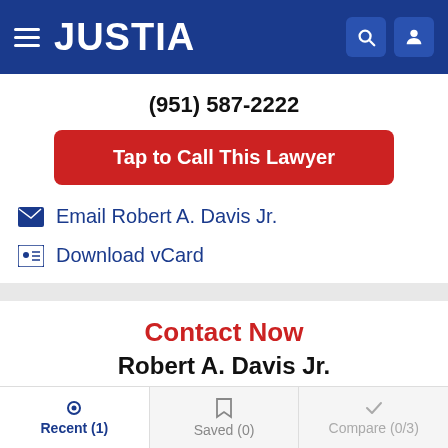JUSTIA
(951) 587-2222
Tap to Call This Lawyer
Email Robert A. Davis Jr.
Download vCard
Contact Now
Robert A. Davis Jr.
(951) 587-2222
(951) 652-9000
Recent (1)   Saved (0)   Compare (0/3)